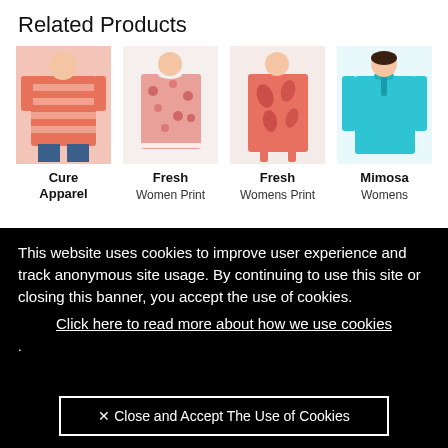Related Products
[Figure (photo): Four women's tops displayed as related products: coral striped top (Cure Apparel), floral print sleeveless top (Fresh Women Print), paisley print sleeveless top (Fresh Womens Print), teal long-sleeve top (Mimosa Womens)]
Cure Apparel
Fresh
Women Print
Fresh
Womens Print
Mimosa
Womens
This website uses cookies to improve user experience and track anonymous site usage. By continuing to use this site or closing this banner, you accept the use of cookies.
Click here to read more about how we use cookies
.
✕ Close and Accept The Use of Cookies